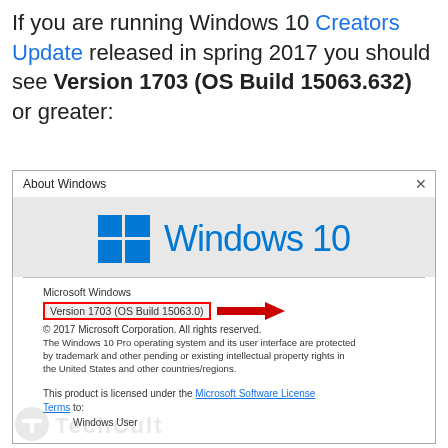If you are running Windows 10 Creators Update released in spring 2017 you should see Version 1703 (OS Build 15063.632) or greater:
[Figure (screenshot): Screenshot of the 'About Windows' dialog showing Windows 10 logo, version info 'Version 1703 (OS Build 15063.0)' highlighted with a red box and red arrow, copyright notice, legal text, and license info for Windows User.]